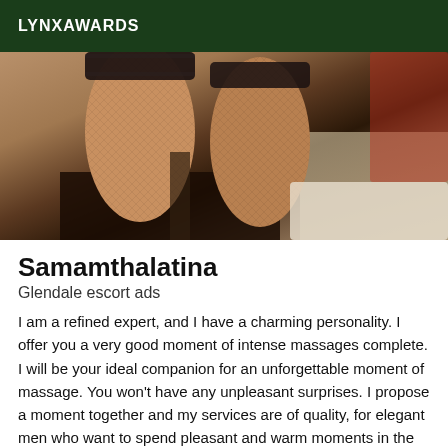LYNXAWARDS
[Figure (photo): Close-up photo of a person's legs wearing fishnet stockings with lace top, partial view with red element in background]
Samamthalatina
Glendale escort ads
I am a refined expert, and I have a charming personality. I offer you a very good moment of intense massages complete. I will be your ideal companion for an unforgettable moment of massage. You won't have any unpleasant surprises. I propose a moment together and my services are of quality, for elegant men who want to spend pleasant and warm moments in the company of a beautiful young woman and my priority is to make sure